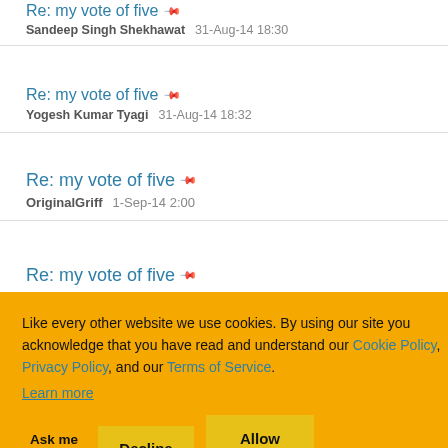Re: my vote of five
Sandeep Singh Shekhawat   31-Aug-14 18:30
Re: my vote of five
Yogesh Kumar Tyagi   31-Aug-14 18:32
Re: my vote of five
OriginalGriff   1-Sep-14 2:00
Re: my vote of five [partially visible]
Like every other website we use cookies. By using our site you acknowledge that you have read and understand our Cookie Policy, Privacy Policy, and our Terms of Service.
Learn more
Ask me later   Decline   Allow cookies
Re: my vote of five [partially visible at bottom]